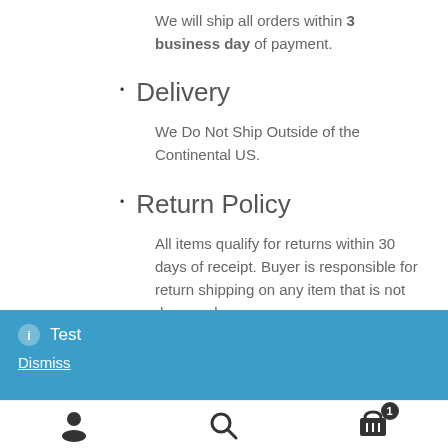We will ship all orders within 3 business day of payment.
Delivery
We Do Not Ship Outside of the Continental US.
Return Policy
All items qualify for returns within 30 days of receipt. Buyer is responsible for return shipping on any item that is not damaged
Test
Dismiss
[Figure (infographic): Bottom navigation bar with user icon, search icon, and cart icon with badge showing count 1]